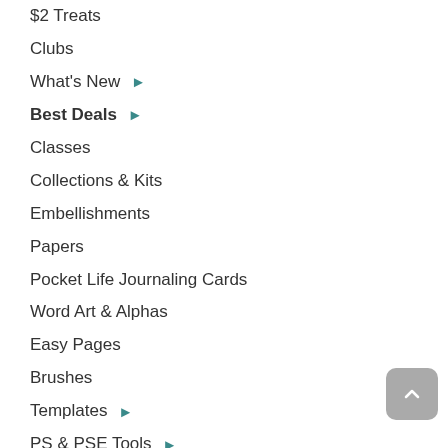$2 Treats
Clubs
What's New ▶
Best Deals ▶
Classes
Collections & Kits
Embellishments
Papers
Pocket Life Journaling Cards
Word Art & Alphas
Easy Pages
Brushes
Templates ▶
PS & PSE Tools ▶
Cards, Crafts & Calendars ▶
SHOP by THEME ▶
SG Collaborations ▶
Commercial/Professional ▶